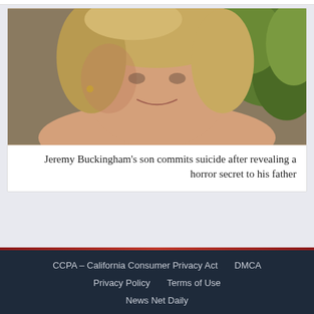[Figure (photo): Close-up photo of a young person with blonde hair, smiling, outdoors with greenery in background]
Jeremy Buckingham’s son commits suicide after revealing a horror secret to his father
CCPA – California Consumer Privacy Act   DMCA   Privacy Policy   Terms of Use   News Net Daily